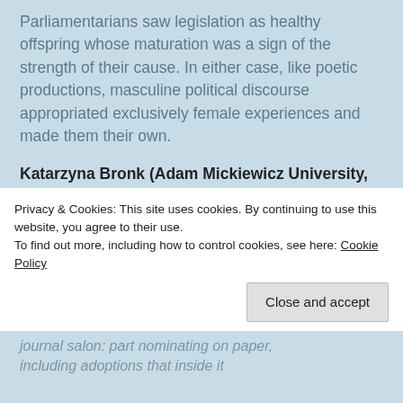Parliamentarians saw legislation as healthy offspring whose maturation was a sign of the strength of their cause. In either case, like poetic productions, masculine political discourse appropriated exclusively female experiences and made them their own.
Katarzyna Bronk (Adam Mickiewicz University, Poland)
"'Both arms full of children": William Cobbett's
Privacy & Cookies: This site uses cookies. By continuing to use this website, you agree to their use.
To find out more, including how to control cookies, see here: Cookie Policy
journal salon: part nominating on paper, including adoptions that inside it